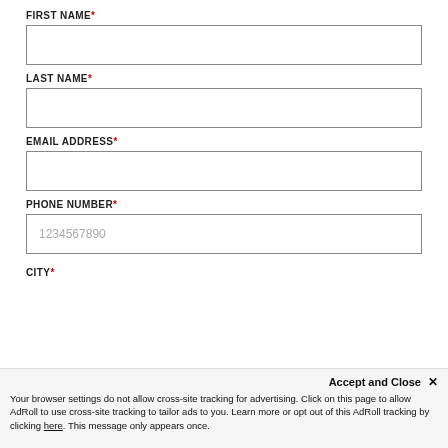FIRST NAME*
LAST NAME*
EMAIL ADDRESS*
PHONE NUMBER*
1234567890
CITY*
Accept and Close ✕
Your browser settings do not allow cross-site tracking for advertising. Click on this page to allow AdRoll to use cross-site tracking to tailor ads to you. Learn more or opt out of this AdRoll tracking by clicking here. This message only appears once.